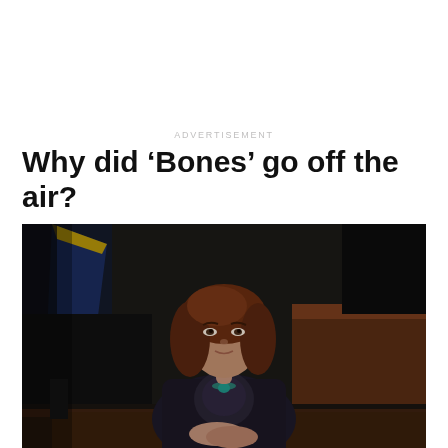ADVERTISEMENT
Why did ‘Bones’ go off the air?
[Figure (photo): A woman with shoulder-length auburn wavy hair, wearing a dark navy blazer over a patterned blouse with a teal necklace, sitting at a dark wooden table with her hands clasped in front of her. An American government-style room is visible in the background with a dark blue and gold flag.]